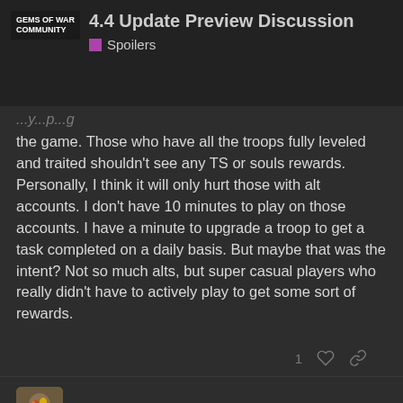4.4 Update Preview Discussion | Spoilers | GEMS OF WAR COMMUNITY
the game. Those who have all the troops fully leveled and traited shouldn't see any TS or souls rewards. Personally, I think it will only hurt those with alt accounts. I don't have 10 minutes to play on those accounts. I have a minute to upgrade a troop to get a task completed on a daily basis. But maybe that was the intent? Not so much alts, but super casual players who really didn't have to actively play to get some sort of rewards.
PeperandSalt  Jun '19
Mod levelling 🤨 I Must say what's the point of the stream then